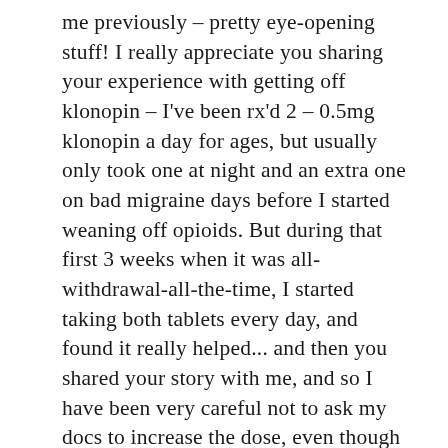me previously – pretty eye-opening stuff! I really appreciate you sharing your experience with getting off klonopin – I've been rx'd 2 – 0.5mg klonopin a day for ages, but usually only took one at night and an extra one on bad migraine days before I started weaning off opioids. But during that first 3 weeks when it was all-withdrawal-all-the-time, I started taking both tablets every day, and found it really helped... and then you shared your story with me, and so I have been very careful not to ask my docs to increase the dose, even though I know it would make withdrawal easier. Instead I added tryptophan and theanine, and they help a lot.